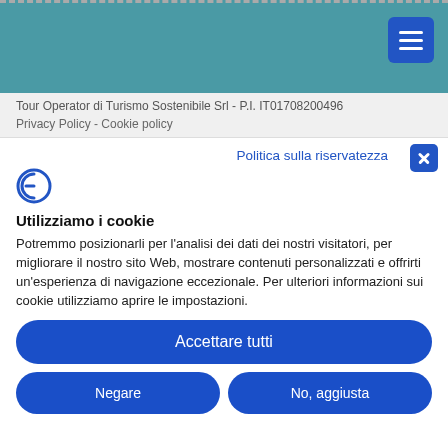[Figure (screenshot): Teal website header bar with hamburger menu button in top right corner]
Tour Operator di Turismo Sostenibile Srl - P.I. IT01708200496
Privacy Policy - Cookie policy
Politica sulla riservatezza
[Figure (logo): Cookiebot logo icon - stylized C with F mark in blue]
Utilizziamo i cookie
Potremmo posizionarli per l'analisi dei dati dei nostri visitatori, per migliorare il nostro sito Web, mostrare contenuti personalizzati e offrirti un'esperienza di navigazione eccezionale. Per ulteriori informazioni sui cookie utilizziamo aprire le impostazioni.
Accettare tutti
Negare
No, aggiusta